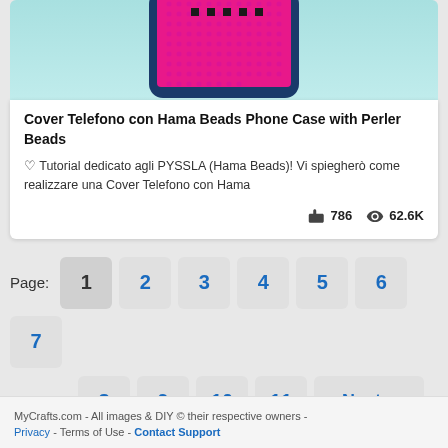[Figure (photo): Photo of a pink Hama Beads phone case on a light blue background, viewed from above.]
Cover Telefono con Hama Beads Phone Case with Perler Beads
♡ Tutorial dedicato agli PYSSLA (Hama Beads)! Vi spiegherò come realizzare una Cover Telefono con Hama
786 likes · 62.6K views
Page: 1 2 3 4 5 6 7 8 9 10 11 Next »
MyCrafts.com - All images & DIY © their respective owners - Privacy - Terms of Use - Contact Support